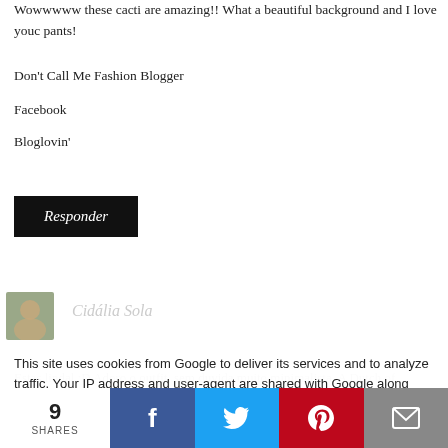Wowwwww these cacti are amazing!! What a beautiful background and I love youc pants!
Don't Call Me Fashion Blogger
Facebook
Bloglovin'
Responder
Cidália Sola
Estas lindal :D Adoro o outfit, sem duvida muito minimalista. A Dutch of imenso numa cura fotografica:
This site uses cookies from Google to deliver its services and to analyze traffic. Your IP address and user-agent are shared with Google along with performance and security metrics to ensure quality of service, generate usage statistics, and to detect and address abuse.
www.trendsandfashionblog.pt
9 SHARES